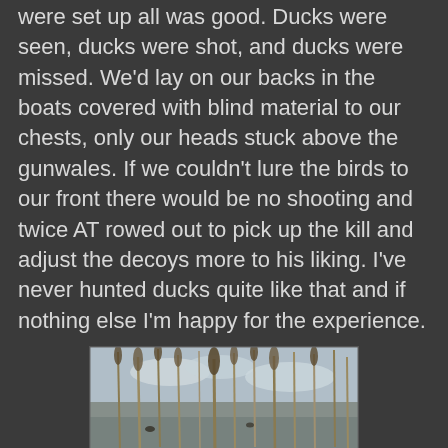were set up all was good. Ducks were seen, ducks were shot, and ducks were missed. We'd lay on our backs in the boats covered with blind material to our chests, only our heads stuck above the gunwales. If we couldn't lure the birds to our front there would be no shooting and twice AT rowed out to pick up the kill and adjust the decoys more to his liking. I've never hunted ducks quite like that and if nothing else I'm happy for the experience.
[Figure (photo): Outdoor hunting scene showing a duck blind or hide made of dried reeds and vegetation near a marshy lake or wetland. Tall dried grasses and reeds are visible in the background with water and sky beyond. In the foreground is brown dried grass and what appears to be a wooden gun stock or shotgun resting in the vegetation.]
The weather has been tough for upland hunting, early season heat in the 80's and then days of rain. Finally today dawned cool and clear and so far the nicest